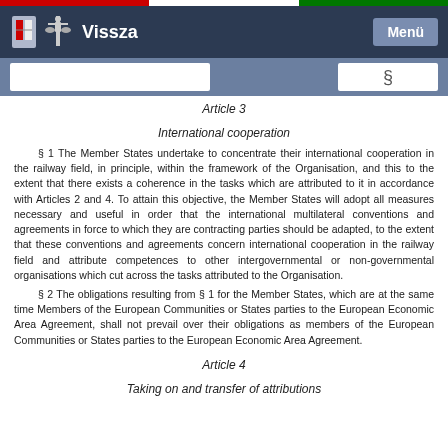Vissza | Menü
Article 3
International cooperation
§ 1 The Member States undertake to concentrate their international cooperation in the railway field, in principle, within the framework of the Organisation, and this to the extent that there exists a coherence in the tasks which are attributed to it in accordance with Articles 2 and 4. To attain this objective, the Member States will adopt all measures necessary and useful in order that the international multilateral conventions and agreements in force to which they are contracting parties should be adapted, to the extent that these conventions and agreements concern international cooperation in the railway field and attribute competences to other intergovernmental or non-governmental organisations which cut across the tasks attributed to the Organisation.
§ 2 The obligations resulting from § 1 for the Member States, which are at the same time Members of the European Communities or States parties to the European Economic Area Agreement, shall not prevail over their obligations as members of the European Communities or States parties to the European Economic Area Agreement.
Article 4
Taking on and transfer of attributions